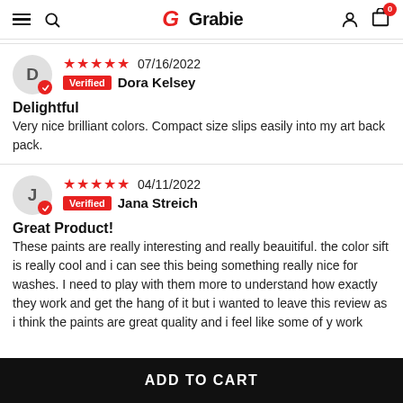Grabie — navigation header with menu, search, logo, user icon, cart (0)
★★★★★ 07/16/2022 Verified Dora Kelsey
Delightful
Very nice brilliant colors. Compact size slips easily into my art back pack.
★★★★★ 04/11/2022 Verified Jana Streich
Great Product!
These paints are really interesting and really beauitiful. the color sift is really cool and i can see this being something really nice for washes. I need to play with them more to understand how exactly they work and get the hang of it but i wanted to leave this review as i think the paints are great quality and i feel like some of y work
ADD TO CART